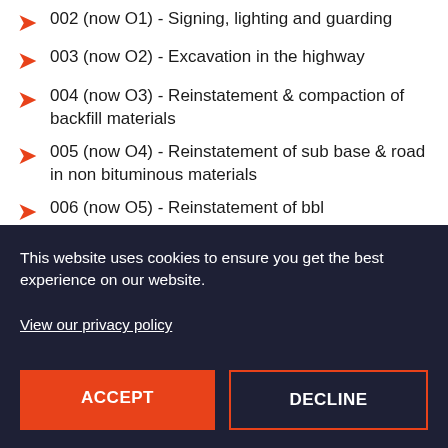002 (now O1) - Signing, lighting and guarding
003 (now O2) - Excavation in the highway
004 (now O3) - Reinstatement & compaction of backfill materials
005 (now O4) - Reinstatement of sub base & road in non bituminous materials
006 (now O5) - Reinstatement of bbl...
This website uses cookies to ensure you get the best experience on our website.

View our privacy policy
ACCEPT
DECLINE